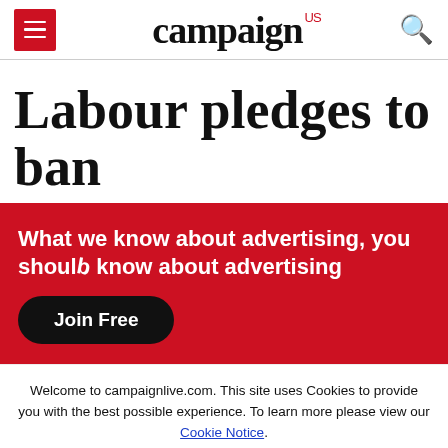campaign US
Labour pledges to ban
What we know about advertising, you should know about advertising
Join Free
Welcome to campaignlive.com. This site uses Cookies to provide you with the best possible experience. To learn more please view our Cookie Notice.
Close